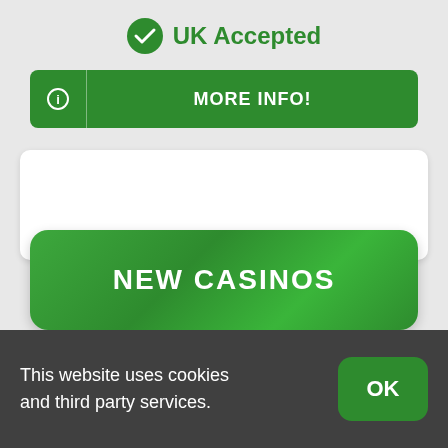[Figure (infographic): Green circle with white checkmark icon indicating UK Accepted status]
UK Accepted
[Figure (infographic): Green button with info icon on left and MORE INFO! text]
MORE INFO!
[Figure (infographic): Large green rounded button labeled NEW CASINOS]
NEW CASINOS
This website uses cookies and third party services.
[Figure (infographic): Green OK button in cookie consent bar]